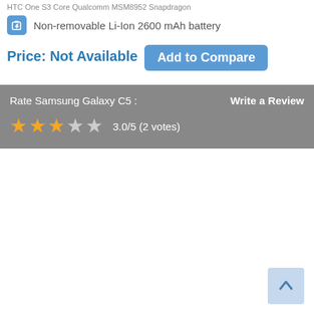HTC One S3 Core Qualcomm MSM8952 Snapdragon
Non-removable Li-Ion 2600 mAh battery
Price: Not Available  Add to Compare
Rate Samsung Galaxy C5 :
Write a Review
3.0/5 (2 votes)